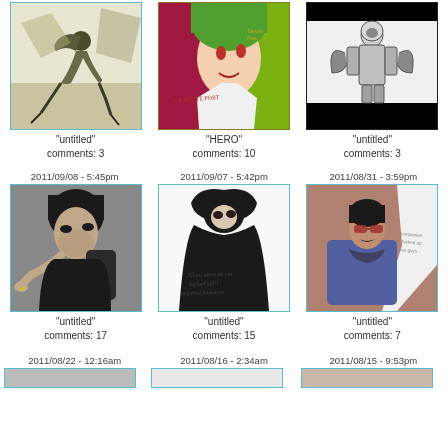[Figure (illustration): Digital illustration of a running figure in olive/tan tones with gas mask]
"untitled"
comments: 3
[Figure (illustration): Digital painting of a fantasy female character with green hair and pointed ears, vibrant colors on green and red background, text reads LA PETITE PORT]
"HERO"
comments: 10
[Figure (illustration): Black and white illustration of a standing armored figure on black and white background]
"untitled"
comments: 3
2011/09/08 - 5:45pm
2011/09/07 - 5:42pm
2011/08/31 - 3:59pm
[Figure (illustration): Black and white digital painting of a dark-haired male figure pointing at viewer]
"untitled"
comments: 17
[Figure (illustration): Grayscale sketch of a dark hooded figure with handwritten text below]
"untitled"
comments: 15
[Figure (illustration): Digital painting of a man with sunglasses and mustache in blue jacket against pink/brown background]
"untitled"
comments: 7
2011/08/22 - 12:16am
2011/08/16 - 2:34am
2011/08/15 - 9:53pm